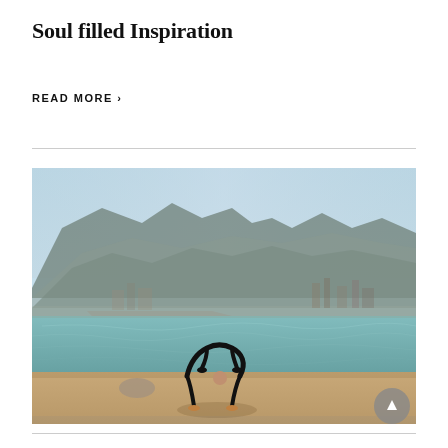Soul filled Inspiration
READ MORE >
[Figure (photo): Person performing a yoga backbend (wheel pose) on a riverside promenade with turquoise river water, mountains, and a town in the background under a hazy blue sky.]